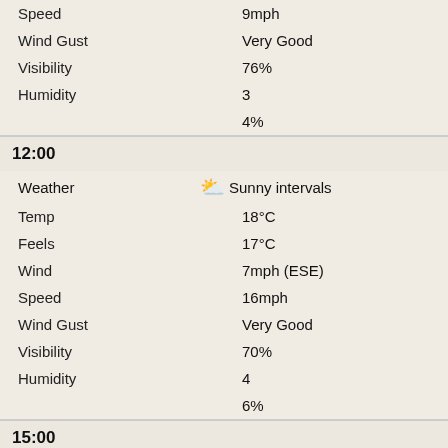| Field | Value |
| --- | --- |
| Speed | 9mph |
| Wind Gust | Very Good |
| Visibility | 76% |
| Humidity | 3 |
|  | 4% |
12:00
| Field | Value |
| --- | --- |
| Weather | Sunny intervals |
| Temp | 18°C |
| Feels | 17°C |
| Wind | 7mph (ESE) |
| Speed | 16mph |
| Wind Gust | Very Good |
| Visibility | 70% |
| Humidity | 4 |
|  | 6% |
15:00
| Field | Value |
| --- | --- |
| Weather | Sunny intervals |
| Temp | 19°C |
| Feels | 18°C |
| Wind | 7mph (E) |
| Speed | 16mph |
| Wind Gust | Very Good |
| Visibility | 64% |
| Humidity | 2 |